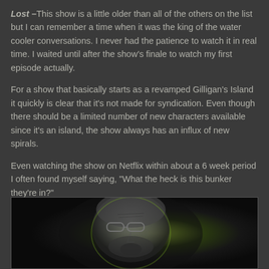Lost – This show is a little older than all of the others on the list but I can remember a time when it was the king of the water cooler conversations. I never had the patience to watch it in real time. I waited until after the show's finale to watch my first episode actually.
For a show that basically starts as a revamped Gilligan's Island it quickly is clear that it's not made for syndication. Even though there should be a limited number of new characters available since it's an island, the show always has an influx of new spirals.
Even watching the show on Netflix within about a 6 week period I often found myself saying, “What the heck is this bunker they’re in?”
[Figure (photo): Dark dramatic photo of a bald man with glasses looking intensely at the camera, with a green/yellow glowing light effect, in black and white with green color grading]